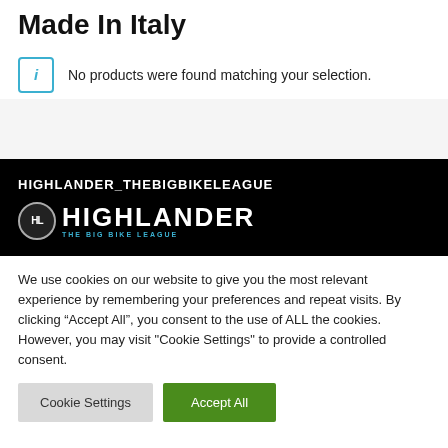Made In Italy
No products were found matching your selection.
HIGHLANDER_THEBIGBIKELEAGUE
[Figure (logo): Highlander The Big Bike League logo with circular HL badge and white text on black background]
We use cookies on our website to give you the most relevant experience by remembering your preferences and repeat visits. By clicking “Accept All”, you consent to the use of ALL the cookies. However, you may visit “Cookie Settings” to provide a controlled consent.
Cookie Settings | Accept All